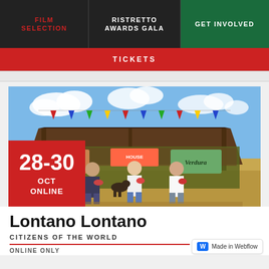FILM SELECTION | RISTRETTO AWARDS GALA | GET INVOLVED
TICKETS
[Figure (photo): Three men eating watermelon outside a farm stand / market stall with a thatched roof, colorful bunting flags, signs reading Frutta and Verdura, with a dog nearby, in a flat rural landscape under a blue sky with clouds. A red overlay box in the lower left shows the dates 28-30 OCT ONLINE.]
Lontano Lontano
CITIZENS OF THE WORLD
ONLINE ONLY